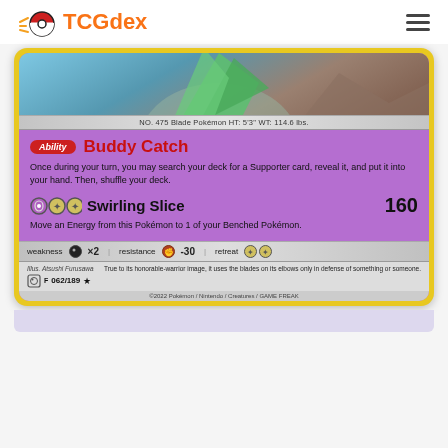TCGdex
[Figure (illustration): Pokemon TCG card for Gallade showing Ability: Buddy Catch and attack: Swirling Slice 160. Card number 062/189. Blade Pokemon NO.475 HT:5'3" WT:114.6 lbs. Weakness Moon x2, Resistance -30, Retreat 2 colorless. Illus. Atsushi Furusawa. ©2022 Pokemon/Nintendo/Creatures/GAME FREAK]